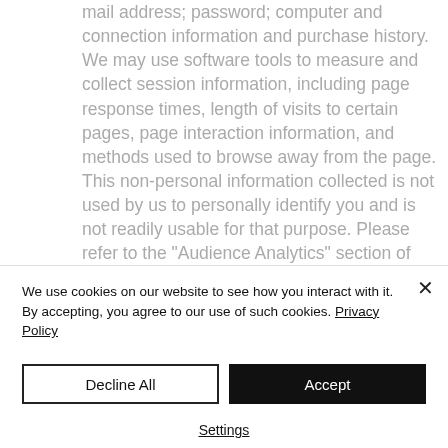mail address; password; computer and connection information and purchase history. We may use software tools to measure and collect session information, including page response times, length of visits to certain pages, page interaction information, and methods used to browse away from the page. This non-personal information collected is not used by us to personally identify you and is not readily usable for that purpose. Please refer to the "Audience Analytics" section of this
We use cookies on our website to see how you interact with it. By accepting, you agree to our use of such cookies. Privacy Policy
Decline All
Accept
Settings